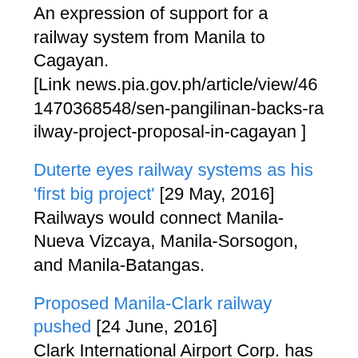An expression of support for a railway system from Manila to Cagayan. [Link news.pia.gov.ph/article/view/461470368548/sen-pangilinan-backs-railway-project-proposal-in-cagayan ]
Duterte eyes railway systems as his 'first big project' [29 May, 2016] Railways would connect Manila-Nueva Vizcaya, Manila-Sorsogon, and Manila-Batangas.
Proposed Manila-Clark railway pushed [24 June, 2016] Clark International Airport Corp. has made proposals calling for a railway system between Manila and Clark, as well as a line to Northern